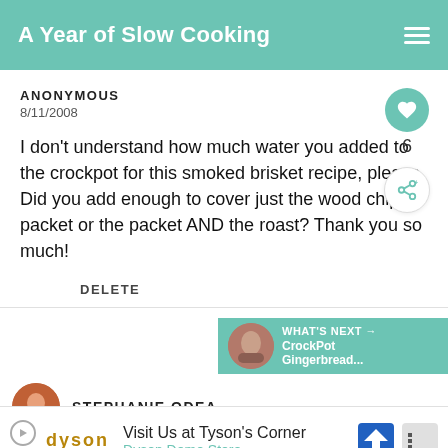A Year of Slow Cooking
ANONYMOUS
8/11/2008
I don't understand how much water you added to the crockpot for this smoked brisket recipe, please. Did you add enough to cover just the wood chip packet or the packet AND the roast? Thank you so much!
DELETE
6
WHAT'S NEXT → CrockPot Gingerbread...
STEPHANIE ODEA
Visit Us at Tyson's Corner Dyson Demo Store